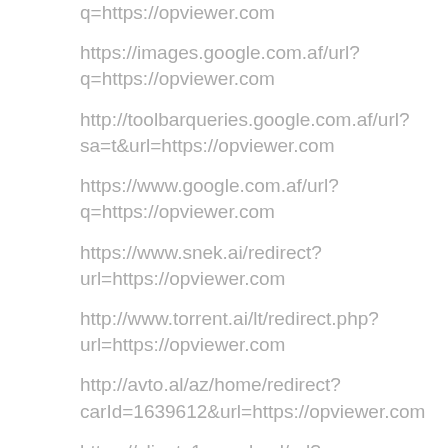q=https://opviewer.com
https://images.google.com.af/url?
q=https://opviewer.com
http://toolbarqueries.google.com.af/url?
sa=t&url=https://opviewer.com
https://www.google.com.af/url?
q=https://opviewer.com
https://www.snek.ai/redirect?
url=https://opviewer.com
http://www.torrent.ai/lt/redirect.php?
url=https://opviewer.com
http://avto.al/az/home/redirect?
carId=1639612&url=https://opviewer.com
https://clients1.google.al/url?
q=https://opviewer.com
https://cse.google.al/url?